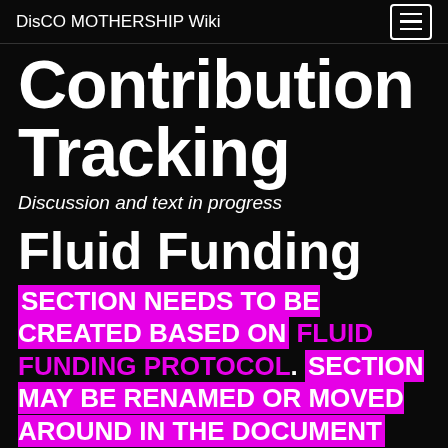DisCO MOTHERSHIP Wiki
Contribution Tracking
Discussion and text in progress
Fluid Funding
SECTION NEEDS TO BE CREATED BASED ON FLUID FUNDING PROTOCOL. SECTION MAY BE RENAMED OR MOVED AROUND IN THE DOCUMENT